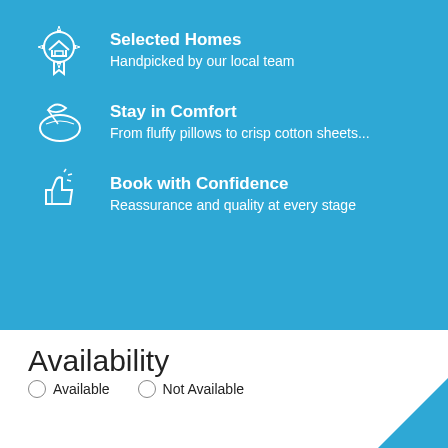Selected Homes
Handpicked by our local team
Stay in Comfort
From fluffy pillows to crisp cotton sheets...
Book with Confidence
Reassurance and quality at every stage
Availability
Available   Not Available